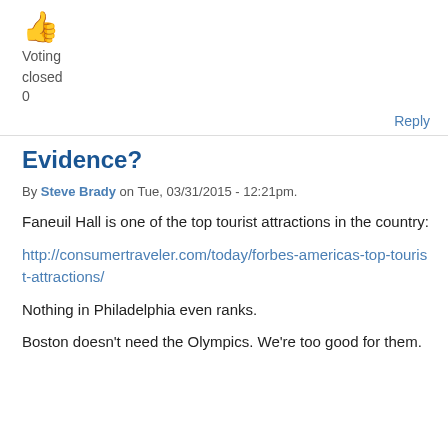[Figure (illustration): Thumbs up emoji icon in orange/yellow color]
Voting
closed
0
Reply
Evidence?
By Steve Brady on Tue, 03/31/2015 - 12:21pm.
Faneuil Hall is one of the top tourist attractions in the country:
http://consumertraveler.com/today/forbes-americas-top-tourist-attractions/
Nothing in Philadelphia even ranks.
Boston doesn't need the Olympics. We're too good for them.